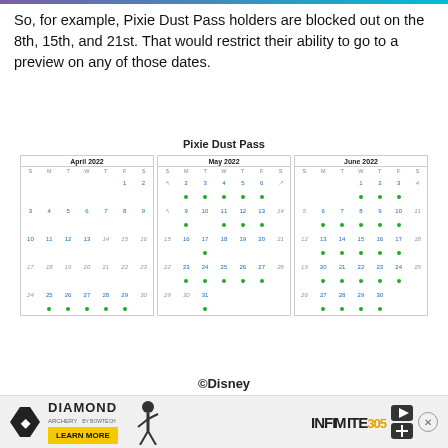So, for example, Pixie Dust Pass holders are blocked out on the 8th, 15th, and 21st. That would restrict their ability to go to a preview on any of those dates.
[Figure (other): Pixie Dust Pass calendar showing April 2022, May 2022, and June 2022 with green dots on available dates and blocked-out dates marked with strikethrough or grayed numbers.]
©Disney
[Figure (infographic): Diamond Archery advertisement banner with INFINITE 305 text and archer silhouette. Learn More button visible.]